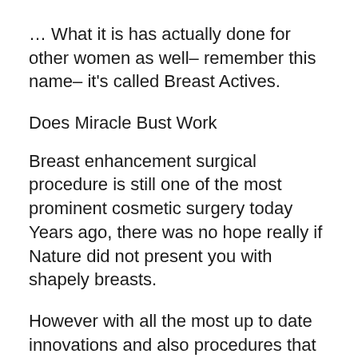… What it is has actually done for other women as well– remember this name– it's called Breast Actives.
Does Miracle Bust Work
Breast enhancement surgical procedure is still one of the most prominent cosmetic surgery today
Years ago, there was no hope really if Nature did not present you with shapely breasts.
However with all the most up to date innovations and also procedures that you obtain today, well, breast enhancement rates as one of the most prominent plastic surgery treatment today.